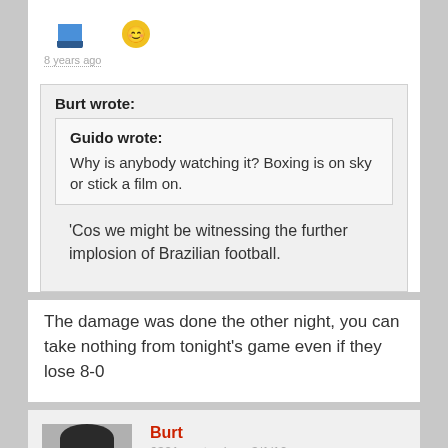8 years ago
Burt wrote:
Guido wrote:
Why is anybody watching it? Boxing is on sky or stick a film on.
'Cos we might be witnessing the further implosion of Brazilian football.
The damage was done the other night, you can take nothing from tonight's game even if they lose 8-0
Burt
6321 posts since 3/1/10